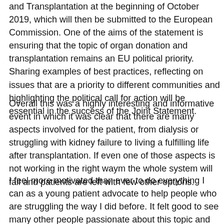and Transplantation at the beginning of October 2019, which will then be submitted to the European Commission. One of the aims of the statement is ensuring that the topic of organ donation and transplantation remains an EU political priority. Sharing examples of best practices, reflecting on issues that are a priority to different communities and highlighting the political call for action will be essential in the success of the Joint Statement.
Overall this was a highly interesting and informative event in which it was clear that there are many aspects involved for the patient, from dialysis or struggling with kidney failure to living a fulfilling life after transplantation. If even one of those aspects is not working in the right waym the whole system will fail and patients are left with few other options.
I feel more motivated than ever to do everything I can as a young patient advocate to help people who are struggling the way I did before. It felt good to see many other people passionate about this topic and trying to help!